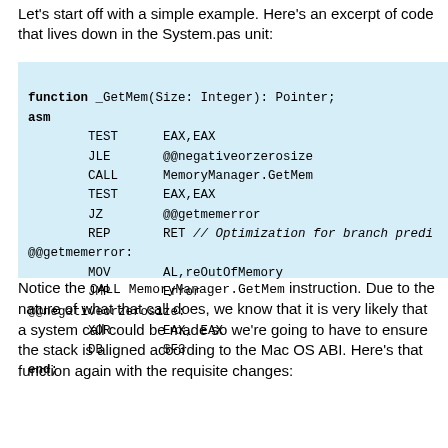Let's start off with a simple example. Here's an excerpt of code that lives down in the System.pas unit:
[Figure (screenshot): Code block showing assembly language function _GetMem in Delphi/Pascal with asm block containing TEST, JLE, CALL, TEST, JZ, REP, MOV, JMP, XOR, DB instructions and labels @@getmemerror and @@negativeorzerosize]
Notice the CALL MemoryManager.GetMem instruction. Due to the nature of what that call does, we know that it is very likely that a system call could be made so we're going to have to ensure the stack is aligned according to the Mac OS ABI. Here's that function again with the requisite changes: